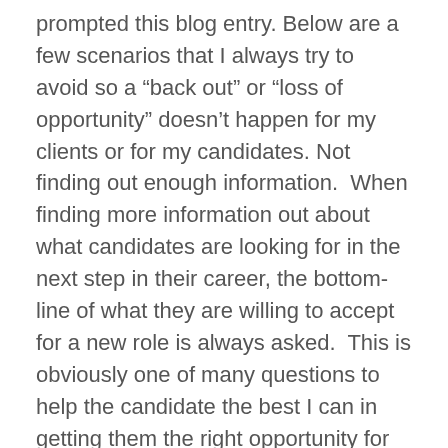prompted this blog entry. Below are a few scenarios that I always try to avoid so a “back out” or “loss of opportunity” doesn’t happen for my clients or for my candidates. Not finding out enough information.  When finding more information out about what candidates are looking for in the next step in their career, the bottom-line of what they are willing to accept for a new role is always asked.  This is obviously one of many questions to help the candidate the best I can in getting them the right opportunity for them.  I am just as blunt with my clients with where they are willing to negotiate on the position.  Will they pay more than the range or is it a hard number. If a candidate’s pure reason for leaving their current role is for money.  This isn’t good